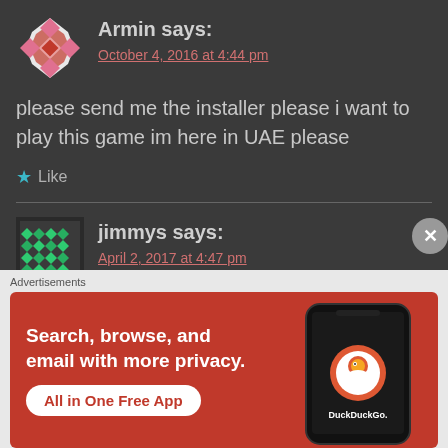[Figure (illustration): Pink geometric avatar for user Armin]
Armin says:
October 4, 2016 at 4:44 pm
please send me the installer please i want to play this game im here in UAE please
★ Like
[Figure (illustration): Green diamond pattern avatar for user jimmys]
jimmys says:
April 2, 2017 at 4:47 pm
[Figure (screenshot): DuckDuckGo advertisement banner: Search, browse, and email with more privacy. All in One Free App.]